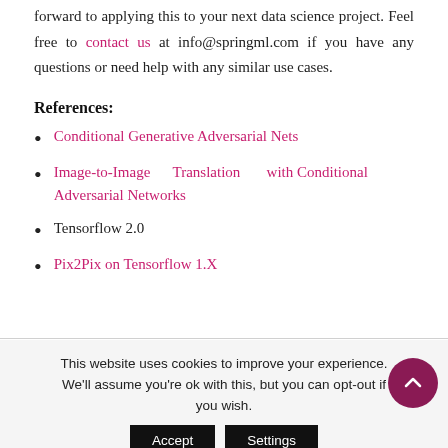forward to applying this to your next data science project. Feel free to contact us at info@springml.com if you have any questions or need help with any similar use cases.
References:
Conditional Generative Adversarial Nets
Image-to-Image Translation with Conditional Adversarial Networks
Tensorflow 2.0
Pix2Pix on Tensorflow 1.X
This website uses cookies to improve your experience. We'll assume you're ok with this, but you can opt-out if you wish. Accept Settings